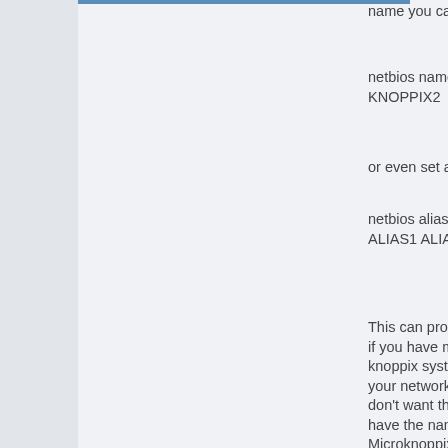name you can set it:
netbios name = KNOPPIX2
or even set aliases
netbios aliases = ALIAS1 ALIAS2
This can prove useful if you have multiple knoppix systems on your network and you don't want them all to have the name Microknoppix.
==================
========
sudo smbpasswd -a knoppix